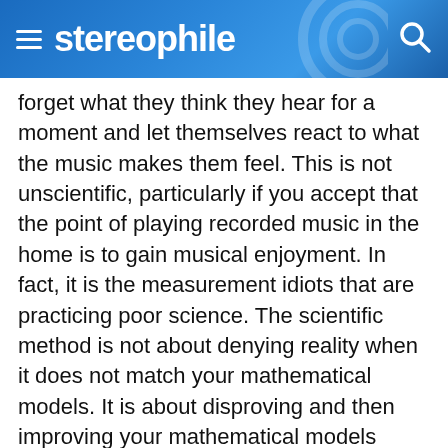stereophile
forget what they think they hear for a moment and let themselves react to what the music makes them feel. This is not unscientific, particularly if you accept that the point of playing recorded music in the home is to gain musical enjoyment. In fact, it is the measurement idiots that are practicing poor science. The scientific method is not about denying reality when it does not match your mathematical models. It is about disproving and then improving your mathematical models when they fail to explain reality. To expect your mathematical models to fully explain reality in an area such as audio seems horribly na;dive in the face of the history of science.---Mark Jenkins, mark.jenkins@telecom.co.nz